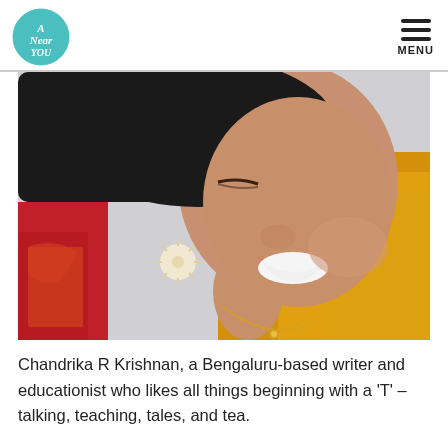A Near You | MENU
[Figure (photo): Close-up photo of a smiling Indian woman wearing a yellow/golden saree and red embroidered blouse, with a sunburst-style earring and gold necklace, against a light background.]
Chandrika R Krishnan, a Bengaluru-based writer and educationist who likes all things beginning with a 'T' – talking, teaching, tales, and tea.